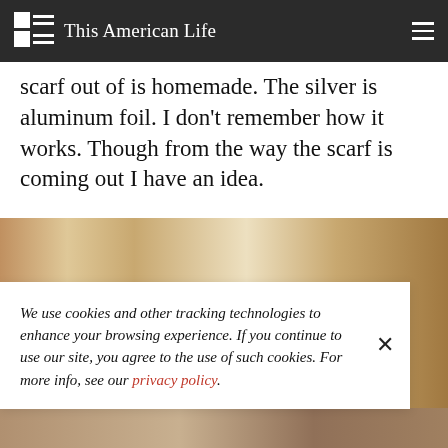This American Life
scarf out of is homemade. The silver is aluminum foil. I don't remember how it works. Though from the way the scarf is coming out I have an idea.
[Figure (photo): Beige/tan colored folded paper or cardboard background, slightly out of focus.]
We use cookies and other tracking technologies to enhance your browsing experience. If you continue to use our site, you agree to the use of such cookies. For more info, see our privacy policy.
[Figure (photo): Bottom strip showing a person, partially visible.]